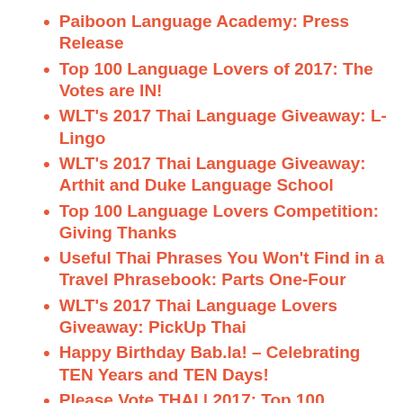Paiboon Language Academy: Press Release
Top 100 Language Lovers of 2017: The Votes are IN!
WLT's 2017 Thai Language Giveaway: L-Lingo
WLT's 2017 Thai Language Giveaway: Arthit and Duke Language School
Top 100 Language Lovers Competition: Giving Thanks
Useful Thai Phrases You Won't Find in a Travel Phrasebook: Parts One-Four
WLT's 2017 Thai Language Lovers Giveaway: PickUp Thai
Happy Birthday Bab.la! – Celebrating TEN Years and TEN Days!
Please Vote THAI | 2017: Top 100 Language Lovers Competition